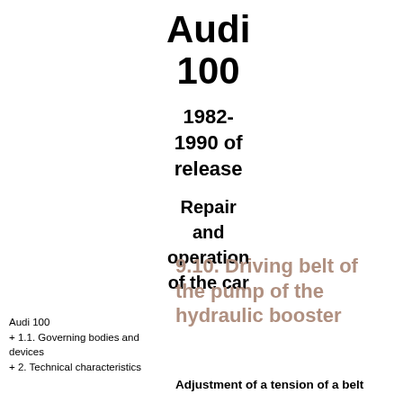Audi 100
1982-1990 of release
Repair and operation of the car
9.10. Driving belt of the pump of the hydraulic booster
Audi 100
+ 1.1. Governing bodies and devices
+ 2. Technical characteristics
Adjustment of a tension of a belt